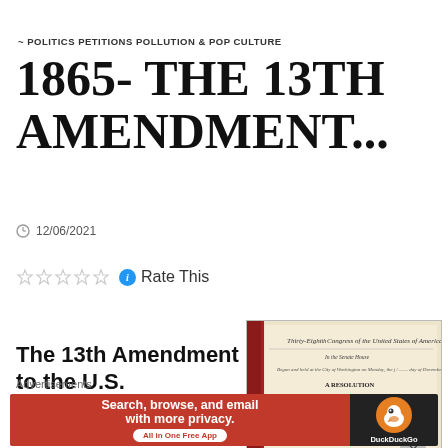~ POLITICS PETITIONS POLLUTION & POP CULTURE
1865- THE 13TH AMENDMENT...
12/06/2021
Rate This
The 13th Amendment to the U.S. Constitution
[Figure (photo): Historical document showing Thirty-Eighth Congress of the United States of America, A Resolution]
Advertisements
[Figure (infographic): DuckDuckGo advertisement: Search, browse, and email with more privacy. All in One Free App]